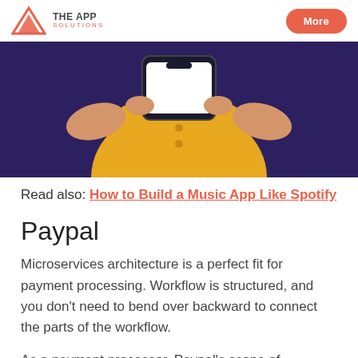THE APP SOLUTIONS | More
[Figure (photo): Person in yellow dress holding a smartphone with white screen, against a dark purple/navy background. Only the torso and hands are visible.]
Read also: How to Build a Music App Like Spotify
Paypal
Microservices architecture is a perfect fit for payment processing. Workflow is structured, and you don't need to bend over backward to connect the parts of the workflow.
As a payment processor, Paypal's scope of